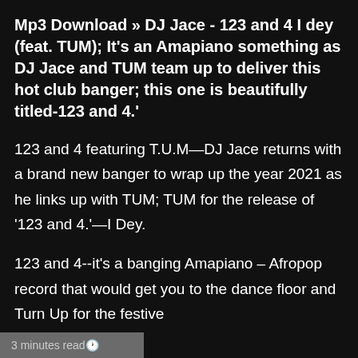Mp3 Download » DJ Jace - 123 and 4 I dey (feat. TUM); It's an Amapiano something as DJ Jace and TUM team up to deliver this hot club banger; this one is beautifully titled-123 and 4.'
123 and 4 featuring T.U.M—DJ Jace returns with a brand new banger to wrap up the year 2021 as he links up with TUM; TUM for the release of '123 and 4.'—I Dey.
123 and 4--it's a banging Amapiano – Afropop record that would get you to the dance floor and Turn Up for the festive
3 minutes read🕐